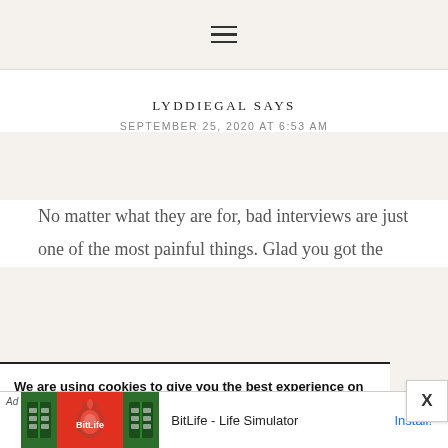≡
LYDDIEGAL SAYS
SEPTEMBER 25, 2020 AT 6:53 AM
No matter what they are for, bad interviews are just one of the most painful things. Glad you got the
We are using cookies to give you the best experience on our website.
You can find out more about which cookies we are using or switch them off in settings.
[Figure (screenshot): Advertisement banner for BitLife - Life Simulator app with Ad label, green and red game graphics on left, text 'BitLife - Life Simulator' and 'Install!' link on right]